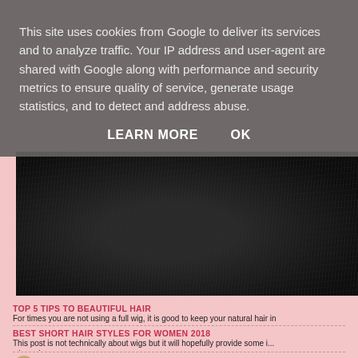This site uses cookies from Google to deliver its services and to analyze traffic. Your IP address and user-agent are shared with Google along with performance and security metrics to ensure quality of service, generate usage statistics, and to detect and address abuse.
LEARN MORE    OK
[Figure (photo): Dark black hair texture close-up photo]
TOP 5 TIPS TO BEAUTIFUL HAIR
For times you are not using a full wig, it is good to keep your natural hair in
BEST SHORT HAIR STYLES FOR WOMEN 2018
This post is not technically about wigs but it will hopefully provide some i... wig, or i...
Meet Kris